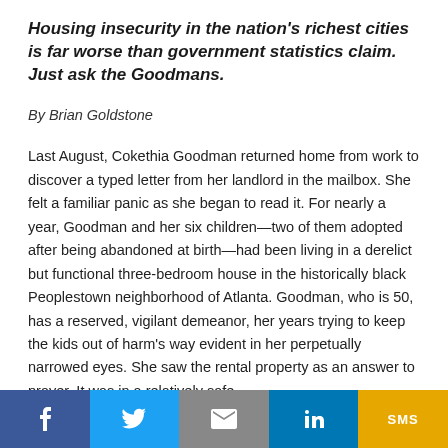Housing insecurity in the nation's richest cities is far worse than government statistics claim. Just ask the Goodmans.
By Brian Goldstone
Last August, Cokethia Goodman returned home from work to discover a typed letter from her landlord in the mailbox. She felt a familiar panic as she began to read it. For nearly a year, Goodman and her six children—two of them adopted after being abandoned at birth—had been living in a derelict but functional three-bedroom house in the historically black Peoplestown neighborhood of Atlanta. Goodman, who is 50, has a reserved, vigilant demeanor, her years trying to keep the kids out of harm's way evident in her perpetually narrowed eyes. She saw the rental property as an answer to prayer. It was in a relatively safe